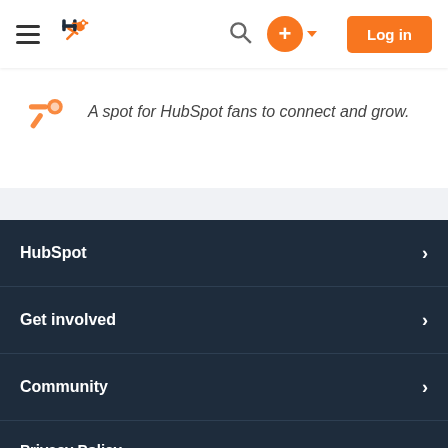HubSpot navigation bar with hamburger menu, logo, search, plus button, and Log in button
[Figure (screenshot): HubSpot community logo with text: A spot for HubSpot fans to connect and grow.]
HubSpot
Get involved
Community
Privacy Policy